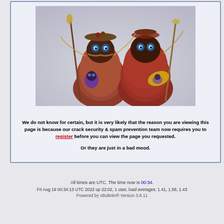[Figure (photo): Two fuzzy creature figurines made from natural materials like seeds, pods, and fibers, with blue eyes and reddish-brown fur-like bodies. The left creature holds a smaller creature, the right one holds a gold leaf with a baby creature inside.]
We do not know for certain, but it is very likely that the reason you are viewing this page is because our crack security & spam prevention team now requires you to register before you can view the page you requested.
Or they are just in a bad mood.
All times are UTC. The time now is 00:34.
Fri Aug 19 00:34:13 UTC 2022 up 22:02, 1 user, load averages: 1.41, 1.58, 1.43
Powered by vBulletin® Version 3.8.11